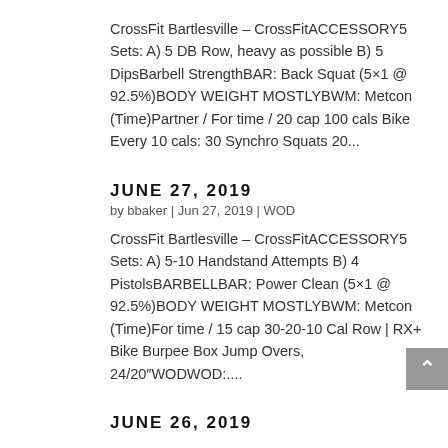CrossFit Bartlesville – CrossFitACCESSORY5 Sets: A) 5 DB Row, heavy as possible B) 5 DipsBarbell StrengthBAR: Back Squat (5×1 @ 92.5%)BODY WEIGHT MOSTLYBWM: Metcon (Time)Partner / For time / 20 cap 100 cals Bike Every 10 cals: 30 Synchro Squats 20...
JUNE 27, 2019
by bbaker | Jun 27, 2019 | WOD
CrossFit Bartlesville – CrossFitACCESSORY5 Sets: A) 5-10 Handstand Attempts B) 4 PistolsBARBELLBAR: Power Clean (5×1 @ 92.5%)BODY WEIGHT MOSTLYBWM: Metcon (Time)For time / 15 cap 30-20-10 Cal Row | RX+ Bike Burpee Box Jump Overs, 24/20″WODWOD:....
JUNE 26, 2019